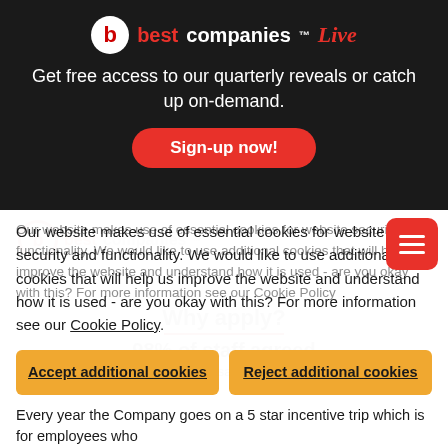[Figure (logo): Best Companies Live logo with red 'b' circle and red/white brand text]
Get free access to our quarterly reveals or catch up on-demand.
Sign-up now!
Our website makes use of essential cookies for website security and functionality. We would like to use additional cookies that will help us improve the website and understand how it is used - are you okay with this? For more information see our Cookie Policy.
Accept additional cookies
Reject additional cookies
Every year the Company goes on a 5 star incentive trip which is for employees who
Why apply?
98% of staff agreed
...this organisation is going